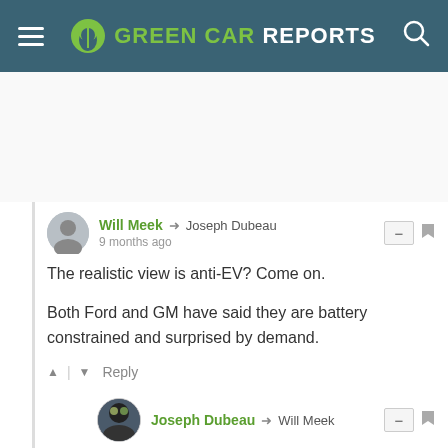GREEN CAR REPORTS
Will Meek → Joseph Dubeau
9 months ago

The realistic view is anti-EV? Come on.

Both Ford and GM have said they are battery constrained and surprised by demand.
Joseph Dubeau → Will Meek